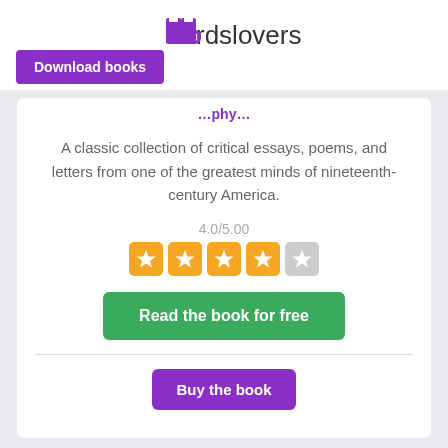[Figure (logo): Wordslovers logo with open book icon in purple and text 'wordslovers']
Download books
A classic collection of critical essays, poems, and letters from one of the greatest minds of nineteenth-century America.
4.0/5.00
[Figure (other): Star rating: 4 filled gold stars and 1 empty gray star]
Read the book for free
Buy the book